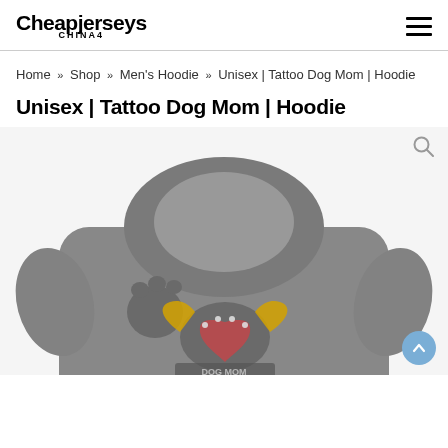Cheapjerseys CHINA4
Home » Shop » Men's Hoodie » Unisex | Tattoo Dog Mom | Hoodie
Unisex | Tattoo Dog Mom | Hoodie
[Figure (photo): Dark grey hoodie with a Tattoo Dog Mom graphic design on the back, showing a dog face with paws, heart, and decorative elements. The hoodie is displayed from the back view.]